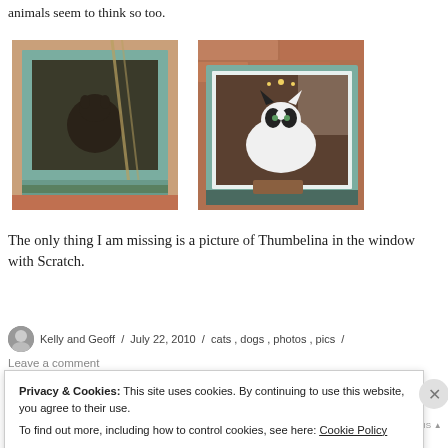animals seem to think so too.
[Figure (photo): Photo of a cat or dog looking out through a window with green frame and brick wall, rope/net visible]
[Figure (photo): Photo of a black and white cat looking out through a white-framed window set in a brick wall]
The only thing I am missing is a picture of Thumbelina in the window with Scratch.
Kelly and Geoff / July 22, 2010 / cats, dogs, photos, pics /
Leave a comment
Privacy & Cookies: This site uses cookies. By continuing to use this website, you agree to their use.
To find out more, including how to control cookies, see here: Cookie Policy
Close and accept